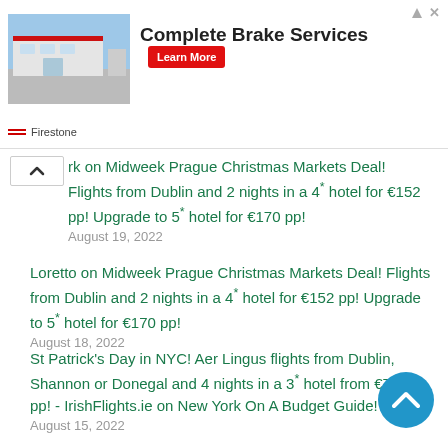[Figure (screenshot): Advertisement banner for Firestone Complete Brake Services with a store image, bold headline, red Learn More button, and Firestone logo]
rk on Midweek Prague Christmas Markets Deal! Flights from Dublin and 2 nights in a 4* hotel for €152 pp! Upgrade to 5* hotel for €170 pp!
August 19, 2022
Loretto on Midweek Prague Christmas Markets Deal! Flights from Dublin and 2 nights in a 4* hotel for €152 pp! Upgrade to 5* hotel for €170 pp!
August 18, 2022
St Patrick's Day in NYC! Aer Lingus flights from Dublin, Shannon or Donegal and 4 nights in a 3* hotel from €739 pp! - IrishFlights.ie on New York On A Budget Guide!
August 15, 2022